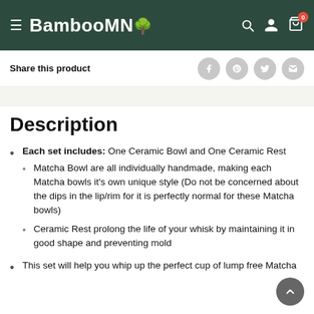BambooMN
Share this product
Description
Each set includes: One Ceramic Bowl and One Ceramic Rest
Matcha Bowl are all individually handmade, making each Matcha bowls it's own unique style (Do not be concerned about the dips in the lip/rim for it is perfectly normal for these Matcha bowls)
Ceramic Rest prolong the life of your whisk by maintaining it in good shape and preventing mold
This set will help you whip up the perfect cup of lump free Matcha